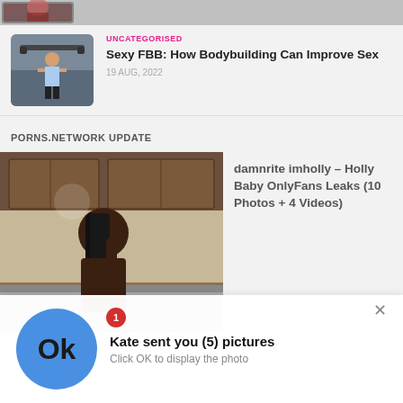[Figure (photo): Partial top strip showing a cropped thumbnail image]
UNCATEGORISED
Sexy FBB: How Bodybuilding Can Improve Sex
19 AUG, 2022
[Figure (photo): Thumbnail of a female bodybuilder lifting weights, viewed from behind]
PORNS.NETWORK UPDATE
[Figure (photo): Photo of a woman with long black hair in a kitchen setting]
damnrite imholly – Holly Baby OnlyFans Leaks (10 Photos + 4 Videos)
[Figure (infographic): Notification overlay: blue circle with 'Ok' text, badge showing '1', title 'Kate sent you (5) pictures', subtitle 'Click OK to display the photo', close X button]